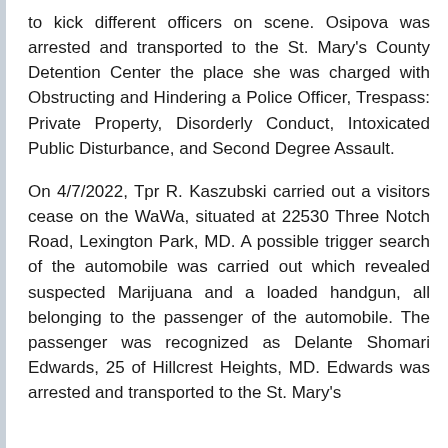to kick different officers on scene. Osipova was arrested and transported to the St. Mary's County Detention Center the place she was charged with Obstructing and Hindering a Police Officer, Trespass: Private Property, Disorderly Conduct, Intoxicated Public Disturbance, and Second Degree Assault.
On 4/7/2022, Tpr R. Kaszubski carried out a visitors cease on the WaWa, situated at 22530 Three Notch Road, Lexington Park, MD. A possible trigger search of the automobile was carried out which revealed suspected Marijuana and a loaded handgun, all belonging to the passenger of the automobile. The passenger was recognized as Delante Shomari Edwards, 25 of Hillcrest Heights, MD. Edwards was arrested and transported to the St. Mary's